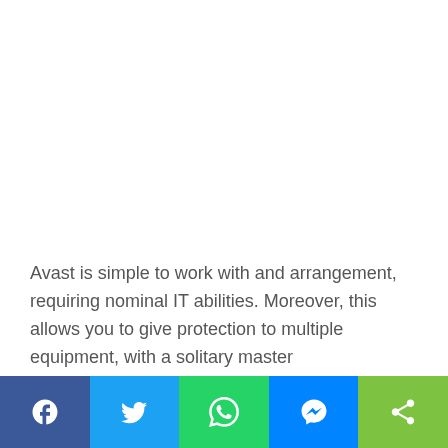Avast is simple to work with and arrangement, requiring nominal IT abilities. Moreover, this allows you to give protection to multiple equipment, with a solitary master
[Figure (infographic): Social media share bar with Facebook, Twitter, WhatsApp, Messenger, and Share buttons]